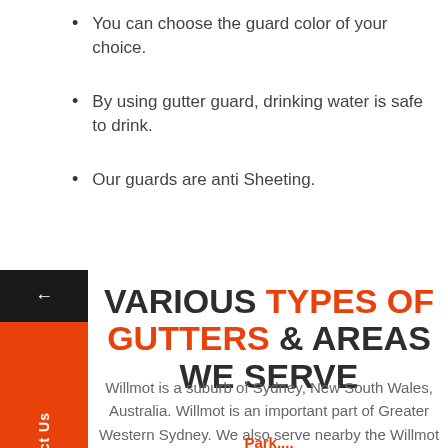You can choose the guard color of your choice.
By using gutter guard, drinking water is safe to drink.
Our guards are anti Sheeting.
VARIOUS TYPES OF GUTTERS & AREAS WE SERVE
Willmot is a suburb of Sydney, New South Wales, Australia. Willmot is an important part of Greater Western Sydney. We also serve nearby the Willmot such as Horsley Park, Cecil Park, ...